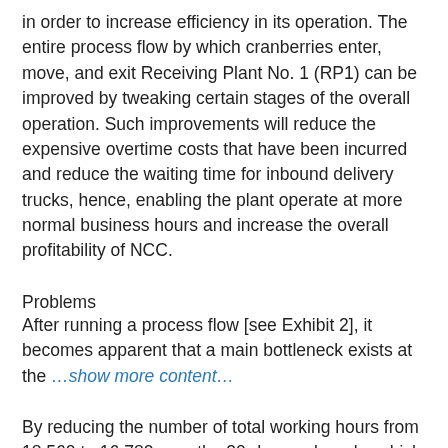in order to increase efficiency in its operation. The entire process flow by which cranberries enter, move, and exit Receiving Plant No. 1 (RP1) can be improved by tweaking certain stages of the overall operation. Such improvements will reduce the expensive overtime costs that have been incurred and reduce the waiting time for inbound delivery trucks, hence, enabling the plant operate at more normal business hours and increase the overall profitability of NCC.
Problems
After running a process flow [see Exhibit 2], it becomes apparent that a main bottleneck exists at the …show more content…
By reducing the number of total working hours from 18,560 to 16,780 over the 20-day peak cycle, which in turn brought down the overall cost of paying employees